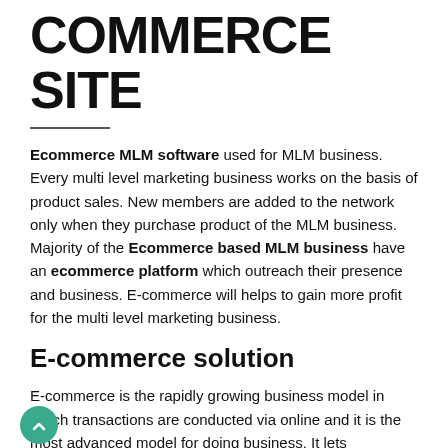COMMERCE SITE
Ecommerce MLM software used for MLM business. Every multi level marketing business works on the basis of product sales. New members are added to the network only when they purchase product of the MLM business. Majority of the Ecommerce based MLM business have an ecommerce platform which outreach their presence and business. E-commerce will helps to gain more profit for the multi level marketing business.
E-commerce solution
E-commerce is the rapidly growing business model in which transactions are conducted via online and it is the most advanced model for doing business. It lets individuals and